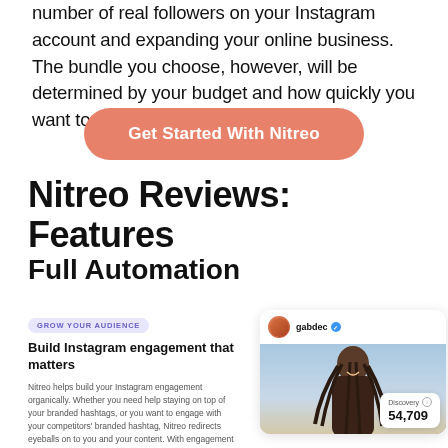number of real followers on your Instagram account and expanding your online business. The bundle you choose, however, will be determined by your budget and how quickly you want to develop your account.
[Figure (other): Coral/salmon rounded rectangle button with white bold text reading 'Get Started With Nitreo']
Nitreo Reviews: Features
Full Automation
[Figure (screenshot): Screenshot mock-up showing left panel with 'GROW YOUR AUDIENCE' badge, heading 'Build Instagram engagement that matters', and descriptive text about Nitreo's organic engagement features. Right side shows an Instagram card with username 'gabdec' with verified checkmark, photo of a woman with braids against a blue sky, and a 'Discovery' stat badge showing 54,709.]